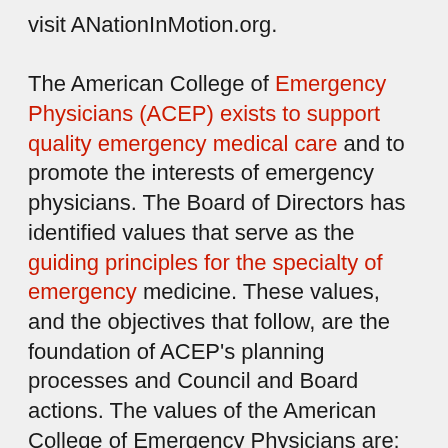visit ANationInMotion.org.

The American College of Emergency Physicians (ACEP) exists to support quality emergency medical care and to promote the interests of emergency physicians. The Board of Directors has identified values that serve as the guiding principles for the specialty of emergency medicine. These values, and the objectives that follow, are the foundation of ACEP’s planning processes and Council and Board actions. The values of the American College of Emergency Physicians are: Quality emergency care is a fundamental right and unobstructed access to emergency services should be available to all patients who perceive the need for emergency services. There is a body of